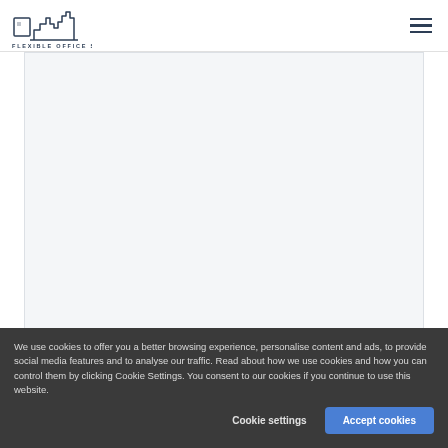[Figure (logo): Flexible Office Space logo with skyline building silhouette icon and text 'FLEXIBLE OFFICE SPACE']
[Figure (photo): Large white/light grey placeholder image area representing a building or office interior photo for Cannon Place, 78 Cannon Street, London]
Cannon Place, 78 Cannon Street, London, EC4N 6HN
We use cookies to offer you a better browsing experience, personalise content and ads, to provide social media features and to analyse our traffic. Read about how we use cookies and how you can control them by clicking Cookie Settings. You consent to our cookies if you continue to use this website.